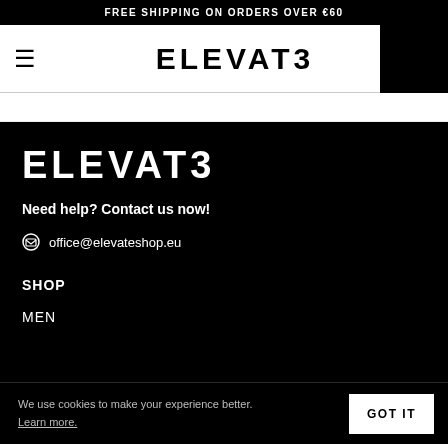FREE SHIPPING ON ORDERS OVER €60
[Figure (logo): ELEVATE brand logo in header, black text on white background with hamburger menu icon on left and black rectangle on right]
[Figure (logo): ELEVATE brand logo large white text on black background in footer section]
Need help? Contact us now!
office@elevateshop.eu
SHOP
MEN
We use cookies to make your experience better. Learn more.